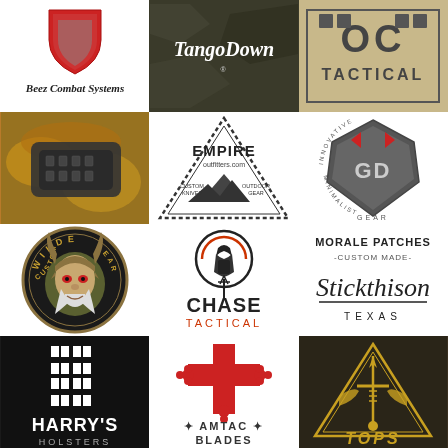[Figure (logo): Beez Combat Systems logo - red shield with text in gothic font]
[Figure (logo): TangoDown logo on dark military background]
[Figure (logo): OC Tactical logo on tan/khaki background]
[Figure (photo): Close-up photo of a firearm grip/handguard on rusty metal surface]
[Figure (logo): Empire Outfitters.com triangle logo - Custom Knives Outdoor Gear]
[Figure (logo): GD Innovative Gear Minimalist circular logo with red accents]
[Figure (logo): Wilde Custom Gear circular logo with viking/demon face]
[Figure (logo): Chase Tactical logo with spartan helmet]
[Figure (logo): Stickthison Texas - Morale Patches Custom Made logo]
[Figure (logo): Harry's Holsters logo on black background]
[Figure (logo): Amtac Blades logo with red crusader cross]
[Figure (logo): TOPS Knives logo with triangle and sword on dark background]